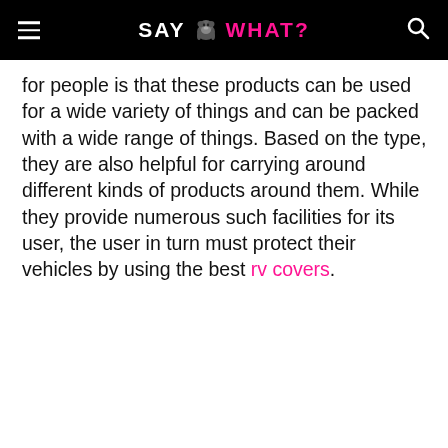SAY WHAT?
for people is that these products can be used for a wide variety of things and can be packed with a wide range of things. Based on the type, they are also helpful for carrying around different kinds of products around them. While they provide numerous such facilities for its user, the user in turn must protect their vehicles by using the best rv covers.